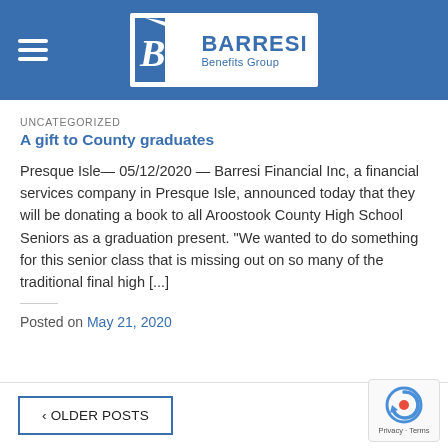Barresi Benefits Group
UNCATEGORIZED
A gift to County graduates
Presque Isle— 05/12/2020 — Barresi Financial Inc, a financial services company in Presque Isle, announced today that they will be donating a book to all Aroostook County High School Seniors as a graduation present. "We wanted to do something for this senior class that is missing out on so many of the traditional final high [...]
Posted on May 21, 2020
< OLDER POSTS